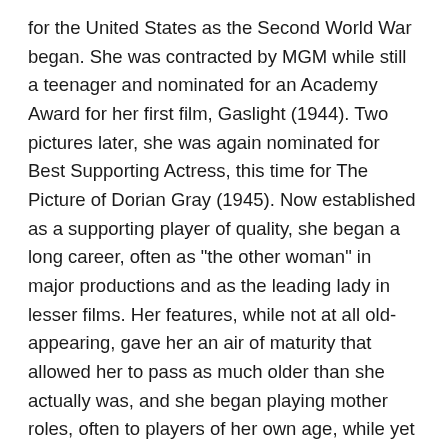for the United States as the Second World War began. She was contracted by MGM while still a teenager and nominated for an Academy Award for her first film, Gaslight (1944). Two pictures later, she was again nominated for Best Supporting Actress, this time for The Picture of Dorian Gray (1945). Now established as a supporting player of quality, she began a long career, often as "the other woman" in major productions and as the leading lady in lesser films. Her features, while not at all old-appearing, gave her an air of maturity that allowed her to pass as much older than she actually was, and she began playing mother roles, often to players of her own age, while yet in her thirties. She concentrated more and more on stage work, achieving notable success in a number of Broadway plays and musicals, winning four Tony Awards in sixteen years. Although active in television since the early 1950s, she obtained her greatest fame in the 1980s by starring in the light mystery program Murder, She Wrote (1984). As Jessica Fletcher, she became known and loved by millions for well over a decade. She also became known for the odd fact of almost